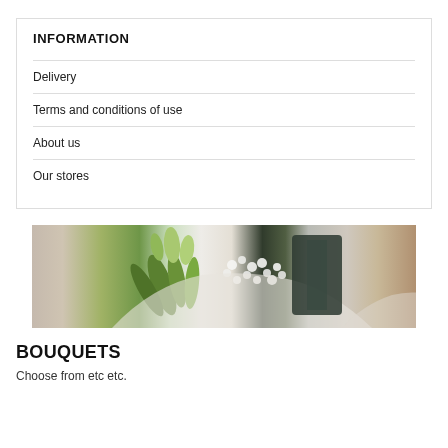INFORMATION
Delivery
Terms and conditions of use
About us
Our stores
[Figure (photo): A close-up photo of a bouquet of white flowers including lilies of the valley and baby's breath, wrapped in white paper, held by hands.]
BOUQUETS
Choose from etc etc.